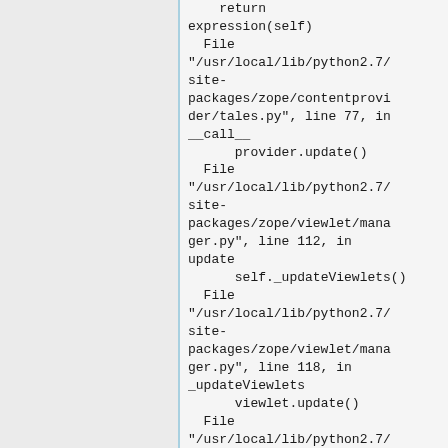return expression(self)
  File "/usr/local/lib/python2.7/site-packages/zope/contentprovider/tales.py", line 77, in __call__
      provider.update()
  File "/usr/local/lib/python2.7/site-packages/zope/viewlet/manager.py", line 112, in update
      self._updateViewlets()
  File "/usr/local/lib/python2.7/site-packages/zope/viewlet/manager.py", line 118, in _updateViewlets
      viewlet.update()
  File "/usr/local/lib/python2.7/